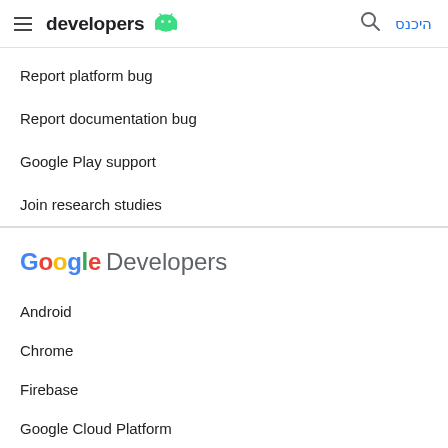developers | היכנס
Report platform bug
Report documentation bug
Google Play support
Join research studies
[Figure (logo): Google Developers logo with colorful Google wordmark and grey Developers text]
Android
Chrome
Firebase
Google Cloud Platform
All products